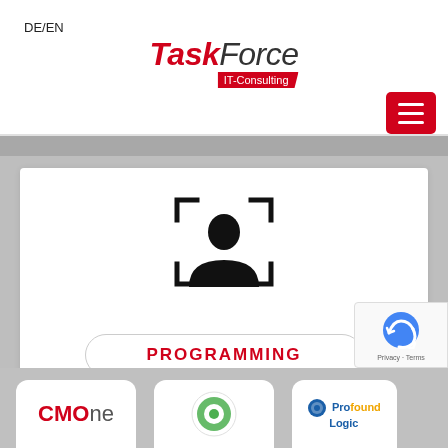DE/EN
[Figure (logo): TaskForce IT-Consulting logo with red bold italic 'Task' and light italic 'Force' text, with red banner subtitle 'IT-Consulting']
[Figure (other): Red hamburger menu button with three white horizontal bars]
[Figure (illustration): Person/user silhouette icon inside a focus/scan frame with corner brackets]
PROGRAMMING
[Figure (logo): CMOne logo in red and gray]
[Figure (logo): Middle company logo (green circular)]
[Figure (logo): Profound Logic logo]
[Figure (other): reCAPTCHA badge with Privacy and Terms links]